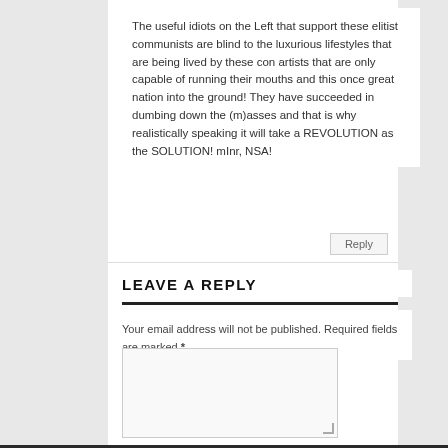The useful idiots on the Left that support these elitist communists are blind to the luxurious lifestyles that are being lived by these con artists that are only capable of running their mouths and this once great nation into the ground! They have succeeded in dumbing down the (m)asses and that is why realistically speaking it will take a REVOLUTION as the SOLUTION! mInr, NSA!
Reply
LEAVE A REPLY
Your email address will not be published. Required fields are marked *